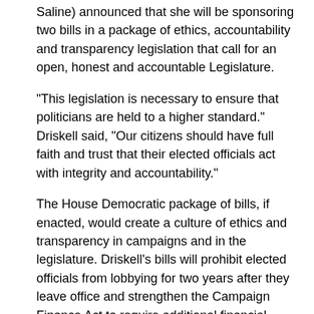Saline) announced that she will be sponsoring two bills in a package of ethics, accountability and transparency legislation that call for an open, honest and accountable Legislature.
“This legislation is necessary to ensure that politicians are held to a higher standard.” Driskell said, “Our citizens should have full faith and trust that their elected officials act with integrity and accountability.”
The House Democratic package of bills, if enacted, would create a culture of ethics and transparency in campaigns and in the legislature. Driskell’s bills will prohibit elected officials from lobbying for two years after they leave office and strengthen the Campaign Finance Act to require additional financial disclosure.
Other bills included in the package will: